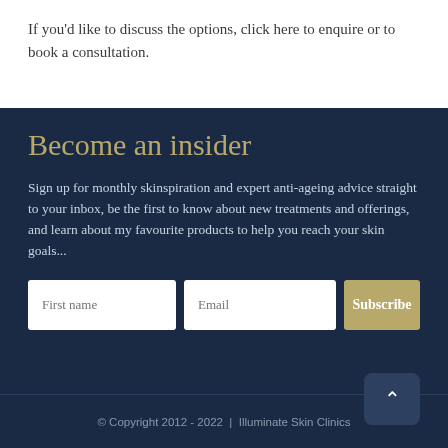If you'd like to discuss the options, click here to enquire or to book a consultation.
Become an insider
Sign up for monthly skinspiration and expert anti-ageing advice straight to your inbox, be the first to know about new treatments and offerings, and learn about my favourite products to help you reach your skin goals...
© Copyright 2012 - 2022  |  Illuminate Skin Clinics